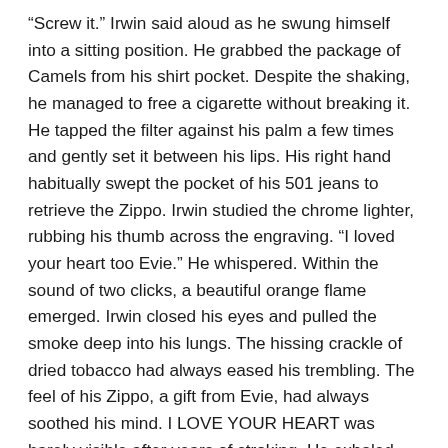“Screw it.” Irwin said aloud as he swung himself into a sitting position. He grabbed the package of Camels from his shirt pocket. Despite the shaking, he managed to free a cigarette without breaking it. He tapped the filter against his palm a few times and gently set it between his lips. His right hand habitually swept the pocket of his 501 jeans to retrieve the Zippo. Irwin studied the chrome lighter, rubbing his thumb across the engraving. “I loved your heart too Evie.” He whispered. Within the sound of two clicks, a beautiful orange flame emerged. Irwin closed his eyes and pulled the smoke deep into his lungs. The hissing crackle of dried tobacco had always eased his trembling. The feel of his Zippo, a gift from Evie, had always soothed his mind. I LOVE YOUR HEART was barely visible after years of stroking. He exhaled and imagined the writings of e.e. cummings. i